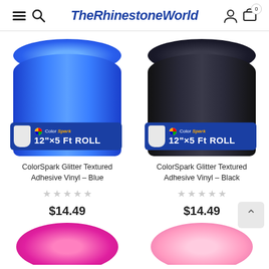TheRhinestoneWorld
[Figure (photo): Blue glitter vinyl roll with ColorSpark 12"x5 Ft ROLL label]
ColorSpark Glitter Textured Adhesive Vinyl – Blue
$14.49
[Figure (photo): Black glitter vinyl roll with ColorSpark 12"x5 Ft ROLL label]
ColorSpark Glitter Textured Adhesive Vinyl – Black
$14.49
[Figure (photo): Magenta/hot pink glitter vinyl roll (partially visible at bottom)]
[Figure (photo): Light pink glitter vinyl roll (partially visible at bottom)]